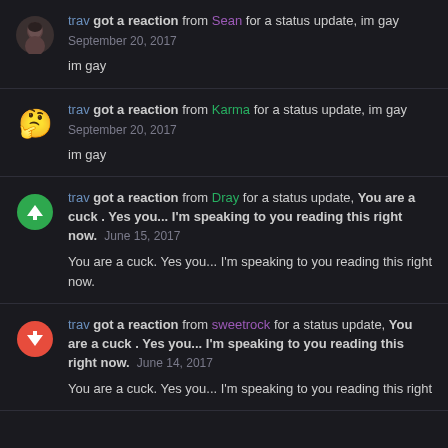trav got a reaction from Sean for a status update, im gay
September 20, 2017
im gay
trav got a reaction from Karma for a status update, im gay
September 20, 2017
im gay
trav got a reaction from Dray for a status update, You are a cuck . Yes you... I'm speaking to you reading this right now. June 15, 2017
You are a cuck. Yes you... I'm speaking to you reading this right now.
trav got a reaction from sweetrock for a status update, You are a cuck . Yes you... I'm speaking to you reading this right now. June 14, 2017
You are a cuck. Yes you... I'm speaking to you reading this right